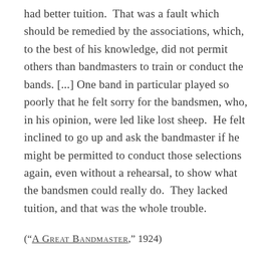had better tuition. That was a fault which should be remedied by the associations, which, to the best of his knowledge, did not permit others than bandmasters to train or conduct the bands. [...] One band in particular played so poorly that he felt sorry for the bandsmen, who, in his opinion, were led like lost sheep. He felt inclined to go up and ask the bandmaster if he might be permitted to conduct those selections again, even without a rehearsal, to show what the bandsmen could really do. They lacked tuition, and that was the whole trouble.
("A GREAT BANDMASTER," 1924)